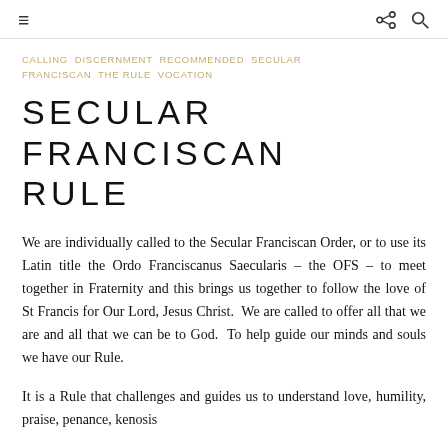≡   ⬡ 🔍
CALLING  DISCERNMENT  RECOMMENDED  SECULAR FRANCISCAN  THE RULE  VOCATION
SECULAR FRANCISCAN RULE
We are individually called to the Secular Franciscan Order, or to use its Latin title the Ordo Franciscanus Saecularis – the OFS – to meet together in Fraternity and this brings us together to follow the love of St Francis for Our Lord, Jesus Christ.  We are called to offer all that we are and all that we can be to God.  To help guide our minds and souls we have our Rule.
It is a Rule that challenges and guides us to understand love, humility, praise, penance, kenosis